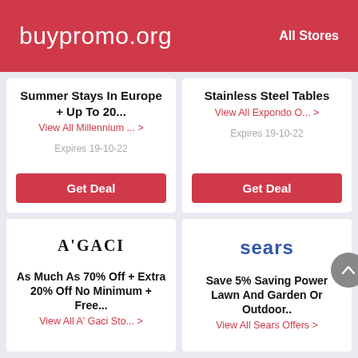buypromo.org   All Stores
Summer Stays In Europe + Up To 20...
View All Millennium ... >
Expires 19-10-22
Get Deal
Stainless Steel Tables
View All Expondo O... >
Expires 19-10-22
Get Deal
[Figure (logo): A'GACI brand logo in serif bold font]
As Much As 70% Off + Extra 20% Off No Minimum + Free...
View All A' Gaci Sto... >
[Figure (logo): Sears brand logo in blue bold sans-serif font]
Save 5% Saving Power Lawn And Garden Or Outdoor..
View All Sears Offers >